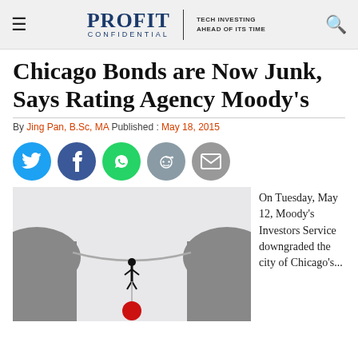PROFIT CONFIDENTIAL | TECH INVESTING AHEAD OF ITS TIME
Chicago Bonds are Now Junk, Says Rating Agency Moody's
By Jing Pan, B.Sc, MA Published : May 18, 2015
[Figure (illustration): Image of a person hanging from a rope stretched between two cliffs, with a red ball attached below, representing financial danger or precariousness.]
On Tuesday, May 12, Moody's Investors Service downgraded the city of Chicago's...